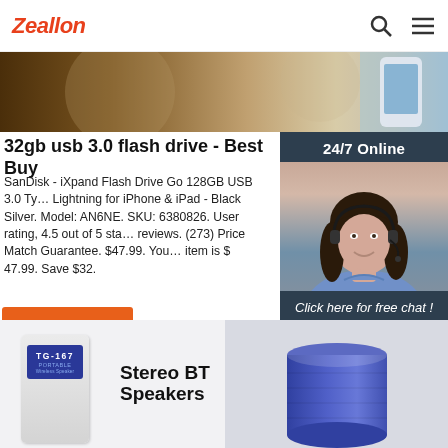Zeallon
[Figure (photo): Banner image with blurred circular objects and a hand holding a smartphone on the right]
32gb usb 3.0 flash drive - Best Buy
SanDisk - iXpand Flash Drive Go 128GB USB 3.0 Type-A Lightning for iPhone & iPad - Black Silver. Model: AN6NE. SKU: 6380826. User rating, 4.5 out of 5 stars. reviews. (273) Price Match Guarantee. $47.99. Your item is $ 47.99. Save $32.
Get Price
[Figure (photo): 24/7 Online chat widget with a smiling woman wearing a headset. Includes 'Click here for free chat!' text and a QUOTATION button.]
[Figure (photo): Bottom product strip showing a TG-167 Portable Wireless Speaker device on left, 'Stereo BT Speakers' text in middle, and a blue cylindrical speaker on right]